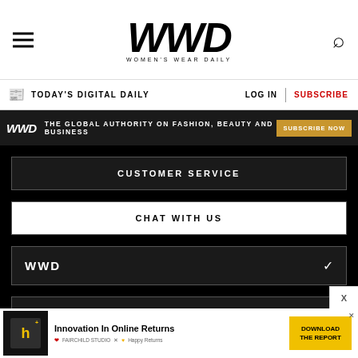WWD WOMEN'S WEAR DAILY
TODAY'S DIGITAL DAILY   LOG IN  |  SUBSCRIBE
WWD  THE GLOBAL AUTHORITY ON FASHION, BEAUTY AND BUSINESS  SUBSCRIBE NOW
CUSTOMER SERVICE
CHAT WITH US
WWD
LEGAL
FOLLOW US
[Figure (screenshot): Advertisement banner for Happy Returns: 'Innovation In Online Returns' with download CTA button]